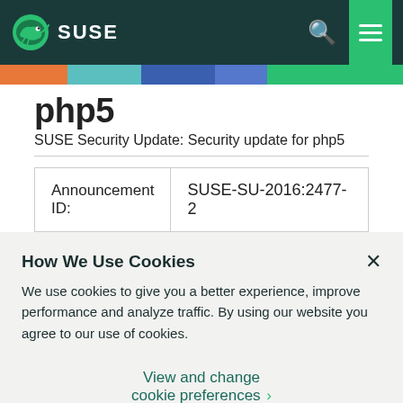SUSE
php5
SUSE Security Update: Security update for php5
| Announcement ID: |  |
| --- | --- |
| Announcement ID: | SUSE-SU-2016:2477-2 |
How We Use Cookies
We use cookies to give you a better experience, improve performance and analyze traffic. By using our website you agree to our use of cookies.
View and change cookie preferences >